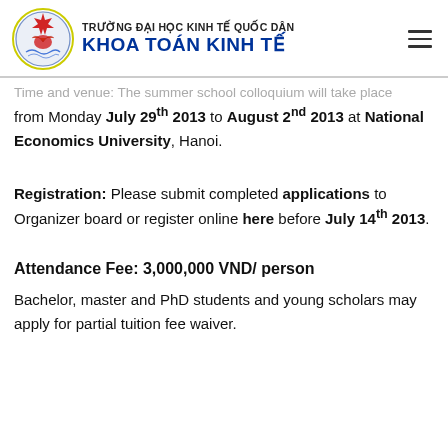TRƯỜNG ĐẠI HỌC KINH TẾ QUỐC DÂN KHOA TOÁN KINH TẾ
Time and venue: The summer school colloquium will take place from Monday July 29th 2013 to August 2nd 2013 at National Economics University, Hanoi.
Registration: Please submit completed applications to Organizer board or register online here before July 14th 2013.
Attendance Fee: 3,000,000 VND/ person
Bachelor, master and PhD students and young scholars may apply for partial tuition fee waiver.